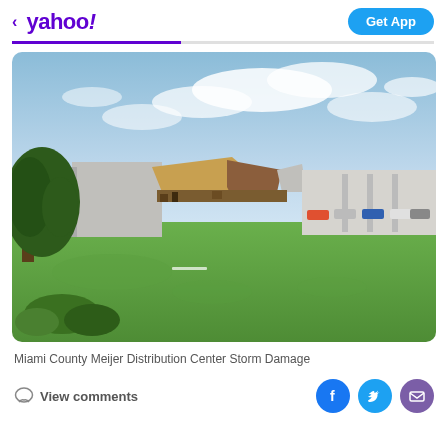< yahoo!  |  Get App
[Figure (photo): Photograph of Miami County Meijer Distribution Center showing storm damage. The roof has partially collapsed. A green lawn is in the foreground, a large warehouse building with collapsed roof sections visible in the background, trees on the left, parked cars on the right, and a partly cloudy blue sky above.]
Miami County Meijer Distribution Center Storm Damage
View comments